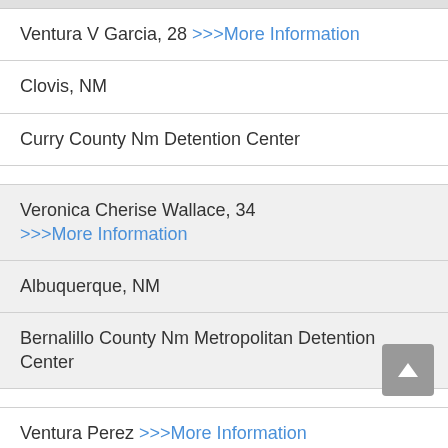Ventura V Garcia, 28 >>>More Information
Clovis, NM
Curry County Nm Detention Center
Veronica Cherise Wallace, 34 >>>More Information
Albuquerque, NM
Bernalillo County Nm Metropolitan Detention Center
Ventura Perez >>>More Information